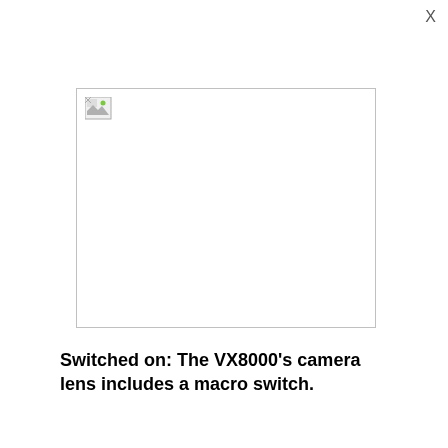[Figure (photo): A broken/missing image placeholder with a small icon in the top-left corner, shown within a light grey bordered rectangle. The image failed to load and displays a broken image icon.]
Switched on: The VX8000's camera lens includes a macro switch.